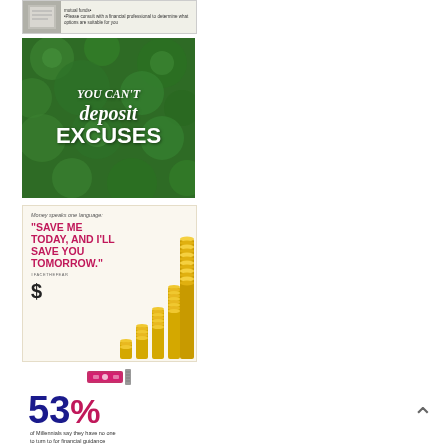[Figure (screenshot): Partial screenshot of a financial tips card showing text about mutual funds and consulting a financial professional]
[Figure (illustration): Green clover background with white italic text: 'YOU CAN'T deposit EXCUSES']
[Figure (infographic): Financial savings motivational card with coin stacks graphic. Tagline: 'Money speaks one language:' Quote in pink: '"SAVE ME TODAY, AND I'LL SAVE YOU TOMORROW."' hashtag #FACETHEFEAR, dollar sign, growing stacks of gold coins]
[Figure (infographic): Infographic showing a money/cash icon and large text '53%' (blue and pink) with caption 'of Millennials say they have no one to turn to for financial guidance']